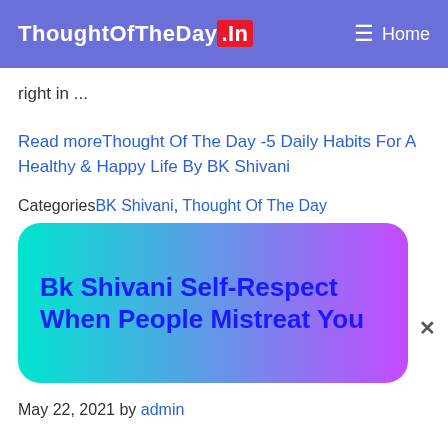ThoughtOfTheDay.In  ☰ Home
right in ...
Read moreThought Of The Day -5 Daily Habits For A Healthy & Happy Life By BK Shivani
CategoriesBK Shivani, Thought Of The Day
[Figure (illustration): Gradient banner with text 'Bk Shivani Self-Respect When People Mistreat You' in dark blue bold font on a teal-to-magenta gradient rounded rectangle]
May 22, 2021 by admin